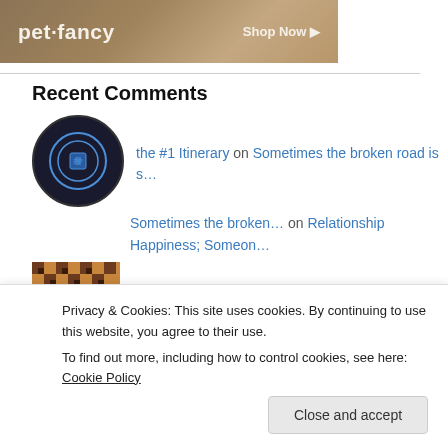[Figure (other): Pet Fancy advertisement banner with wood background, logo and Shop Now button]
Recent Comments
[Figure (photo): Dark circular avatar with passport/globe icon for 'the #1 Itinerary' commenter]
the #1 Itinerary on Sometimes the broken road is s…
Sometimes the broken… on Relationship Happiness; Someon…
[Figure (photo): Brown geometric pattern avatar for Paula P. Erickson]
Paula P. Erickson on Carginia Cambogia, my experien…
Paula P. Erickson on Carginia Cambogia, my experien… (partially visible)
Privacy & Cookies: This site uses cookies. By continuing to use this website, you agree to their use.
To find out more, including how to control cookies, see here: Cookie Policy
Close and accept